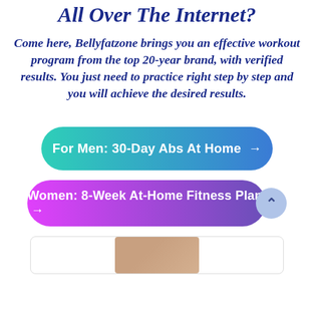All Over The Internet?
Come here, Bellyfatzone brings you an effective workout program from the top 20-year brand, with verified results. You just need to practice right step by step and you will achieve the desired results.
For Men: 30-Day Abs At Home →
Women: 8-Week At-Home Fitness Plan →
[Figure (photo): Bottom section with image thumbnail, partially visible]